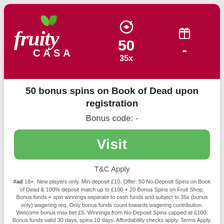[Figure (logo): Fruity Casa casino logo — white script text on dark red/crimson background with green leaf accents]
50
35x
-
50 bonus spins on Book of Dead upon registration
Bonus code: -
Visit
T&C Apply
#ad 18+. New players only. Min deposit £10. Offer: 50 No-Deposit Spins on Book of Dead & 100% deposit match up to £100 + 20 Bonus Spins on Fruit Shop. Bonus funds + spin winnings separate to cash funds and subject to 35x (bonus only) wagering req. Only bonus funds count towards wagering contribution. Welcome bonus max bet £5. Winnings from No-Deposit Spins capped at £100. Bonus funds valid 30 days, spins 10 days. Affordability checks apply. Terms Apply. BeGambleAware.org
Fruity Casa Casino free spins
Fruity Casa Casino is offering the following free